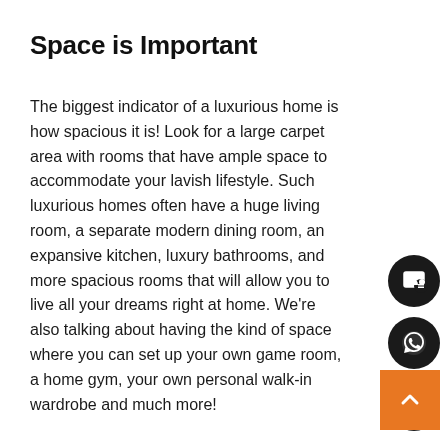Space is Important
The biggest indicator of a luxurious home is how spacious it is! Look for a large carpet area with rooms that have ample space to accommodate your lavish lifestyle. Such luxurious homes often have a huge living room, a separate modern dining room, an expansive kitchen, luxury bathrooms, and more spacious rooms that will allow you to live all your dreams right at home. We're also talking about having the kind of space where you can set up your own game room, a home gym, your own personal walk-in wardrobe and much more!
[Figure (other): Three circular floating action buttons (dark/black) on the right side: a contact/form icon, a WhatsApp icon, and a phone/call icon. Below them is an orange square scroll-to-top button with an upward chevron arrow.]